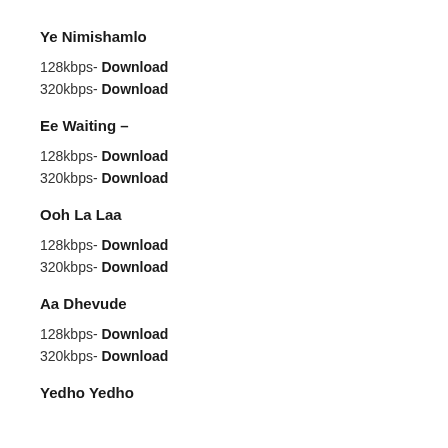Ye Nimishamlo
128kbps- Download
320kbps- Download
Ee Waiting –
128kbps- Download
320kbps- Download
Ooh La Laa
128kbps- Download
320kbps- Download
Aa Dhevude
128kbps- Download
320kbps- Download
Yedho Yedho